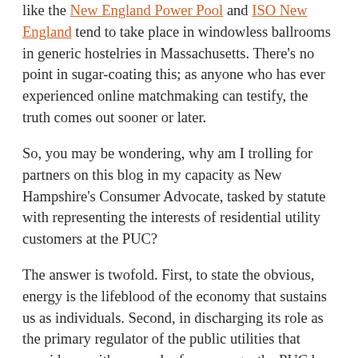like the New England Power Pool and ISO New England tend to take place in windowless ballrooms in generic hostelries in Massachusetts. There's no point in sugar-coating this; as anyone who has ever experienced online matchmaking can testify, the truth comes out sooner or later.
So, you may be wondering, why am I trolling for partners on this blog in my capacity as New Hampshire's Consumer Advocate, tasked by statute with representing the interests of residential utility customers at the PUC?
The answer is twofold. First, to state the obvious, energy is the lifeblood of the economy that sustains us as individuals. Second, in discharging its role as the primary regulator of the public utilities that provide us with so much of our energy, the PUC has an explicit statutory mission to be the arbiter between the interests of utility owners and utility customers.
My office has a position during the PUC hearings...